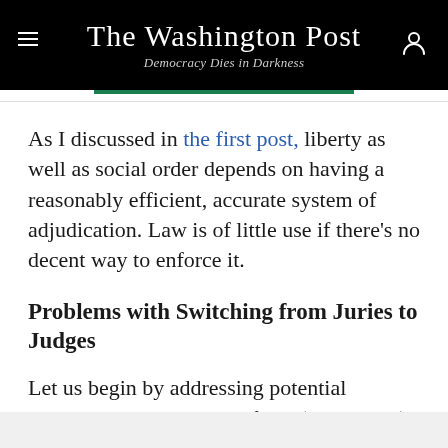The Washington Post — Democracy Dies in Darkness
As I discussed in the first post, liberty as well as social order depends on having a reasonably efficient, accurate system of adjudication. Law is of little use if there's no decent way to enforce it.
Problems with Switching from Juries to Judges
Let us begin by addressing potential problems with switching from (theoretical) adjudication by juries to adjudication by judges.